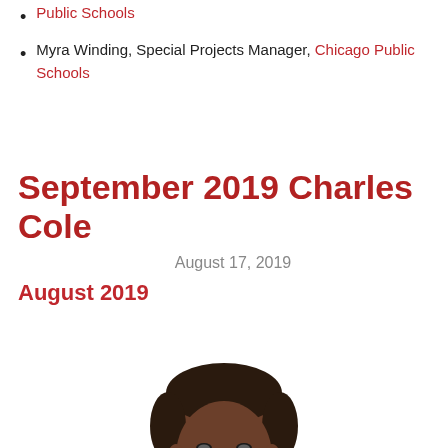Public Schools
Myra Winding, Special Projects Manager, Chicago Public Schools
September 2019 Charles Cole
August 17, 2019
August 2019
[Figure (photo): Portrait photo of a young Black man with short hair, facing forward, from the shoulders up, against a white background.]